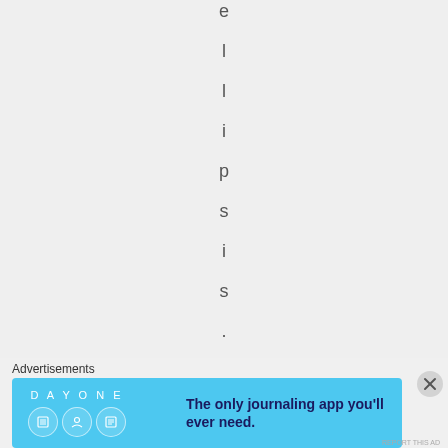ellipsis. Than
Advertisements
[Figure (illustration): Day One journaling app advertisement banner with blue background, DAY ONE logo, three circular icons, and text 'The only journaling app you'll ever need.']